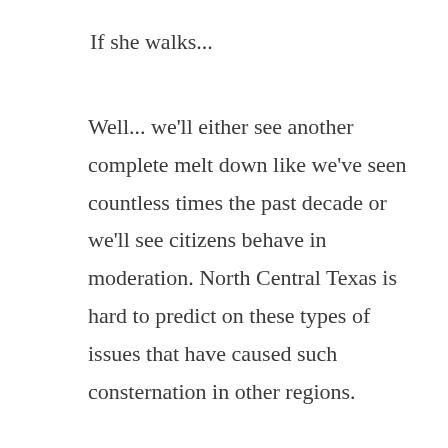If she walks...
Well... we'll either see another complete melt down like we've seen countless times the past decade or we'll see citizens behave in moderation. North Central Texas is hard to predict on these types of issues that have caused such consternation in other regions.